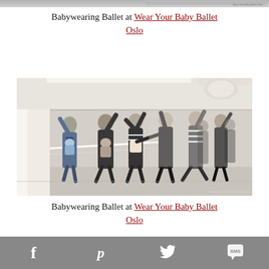[Figure (photo): Partial header image strip from Wear Your Baby Ballet Oslo website, showing faint text watermark]
Babywearing Ballet at Wear Your Baby Ballet Oslo
[Figure (photo): Group of mothers with babies in carriers doing ballet exercises at a barre in a mirrored dance studio. Watermark reads: Wear Your Baby Ballet Oslo]
Babywearing Ballet at Wear Your Baby Ballet Oslo
Social share bar with Facebook, Pinterest, Twitter, and SMS icons